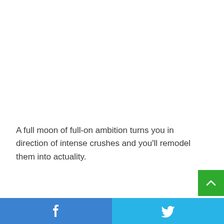A full moon of full-on ambition turns you in direction of intense crushes and you'll remodel them into actuality.
[Figure (other): Green scroll-to-top button with upward chevron arrow]
[Figure (other): Social sharing bar with Facebook (blue) and Twitter (light blue) buttons at the bottom of the page]